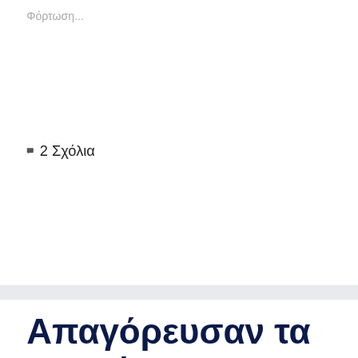Φόρτωση...
2 Σχόλια
Απαγόρευσαν τα κινητά στις ανύπαντρες στη Βόρεια Ινδία
Privacy & Cookies: This site uses cookies. By continuing to use this website, you agree to their use.
To find out more, including how to control cookies, see here: Cookie Policy
Κλείσιμο και αποδοχή